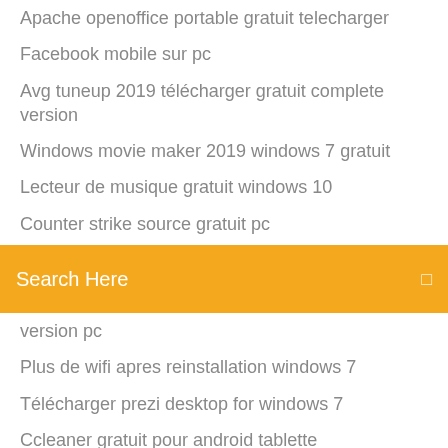Apache openoffice portable gratuit telecharger
Facebook mobile sur pc
Avg tuneup 2019 télécharger gratuit complete version
Windows movie maker 2019 windows 7 gratuit
Lecteur de musique gratuit windows 10
Counter strike source gratuit pc
Comment telecharger play store jeux gratuit
[Figure (screenshot): Orange search bar with white text 'Search Here' and a small square icon on the right]
version pc
Plus de wifi apres reinstallation windows 7
Télécharger prezi desktop for windows 7
Ccleaner gratuit pour android tablette
Baldi basic in education free
Télécharger high quality mp3 from youtube online
Nero burning rom 2019 crack only
Une famille en or betisier
Counter strike 1.6 télécharger mac
Microsoft service pack 1 for windows 7 32 bit gratuit